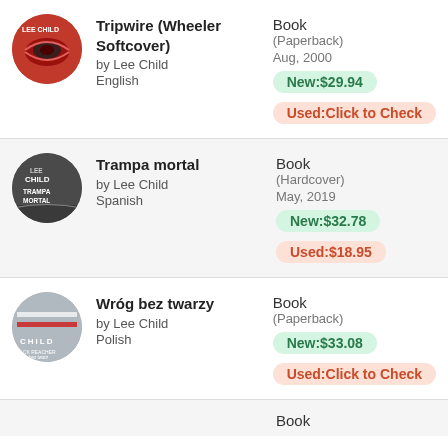[Figure (illustration): Book cover for Tripwire by Lee Child, circular crop, red background with eye graphic]
Tripwire (Wheeler Softcover)
by Lee Child
English
Book
(Paperback)
Aug, 2000
New:$29.94
Used:Click to Check
[Figure (illustration): Book cover for Trampa mortal by Lee Child, circular crop, dark tones]
Trampa mortal
by Lee Child
Spanish
Book
(Hardcover)
May, 2019
New:$32.78
Used:$18.95
[Figure (illustration): Book cover for Wróg bez twarzy by Lee Child, circular crop, Jack Reacher cover]
Wróg bez twarzy
by Lee Child
Polish
Book
(Paperback)
New:$33.08
Used:Click to Check
Book